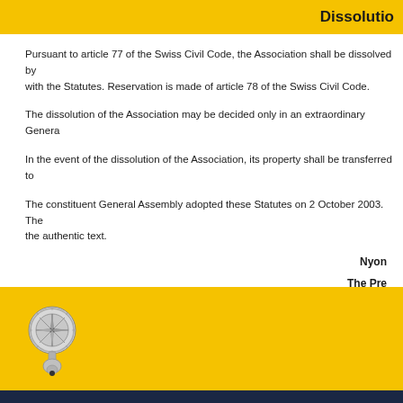Dissolution
Pursuant to article 77 of the Swiss Civil Code, the Association shall be dissolved by with the Statutes. Reservation is made of article 78 of the Swiss Civil Code.
The dissolution of the Association may be decided only in an extraordinary General
In the event of the dissolution of the Association, its property shall be transferred to
The constituent General Assembly adopted these Statutes on 2 October 2003. The the authentic text.
Nyon
The Pre
The Secreta
[Figure (logo): Circular emblem/logo with compass rose design, silver/grey tones on gold background]